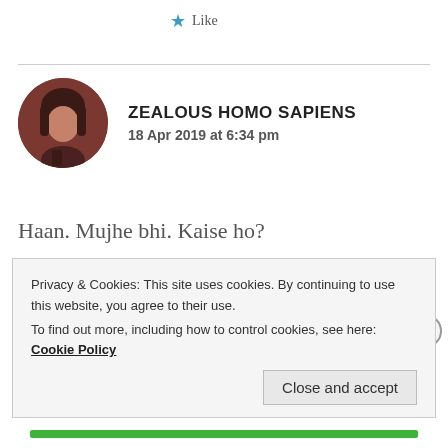★ Like
[Figure (photo): Circular avatar photo of a person with dark hair, brown/dark red background]
ZEALOUS HOMO SAPIENS
18 Apr 2019 at 6:34 pm
Haan. Mujhe bhi. Kaise ho?
★ Like
Privacy & Cookies: This site uses cookies. By continuing to use this website, you agree to their use.
To find out more, including how to control cookies, see here: Cookie Policy
Close and accept